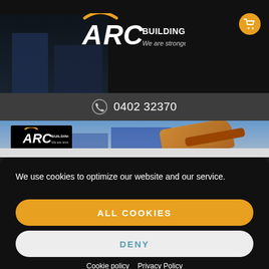[Figure (screenshot): ARC Building Products website header with logo, tagline 'We are stronger', shopping cart icon, phone number 0402 32370, and hero banner image showing a sled with winter building background and small ARC logo box]
We use cookies to optimize our website and our service.
ALL COOKIES
DENY
Cookie policy   Privacy Policy